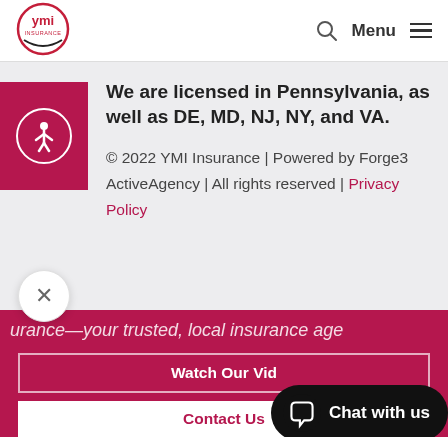[Figure (logo): YMI Insurance circular logo with 'ymi insurance' text]
We are licensed in Pennsylvania, as well as DE, MD, NJ, NY, and VA.
© 2022 YMI Insurance | Powered by Forge3 ActiveAgency | All rights reserved | Privacy Policy
urance—your trusted, local insurance age
Watch Our Vid
Contact Us
Chat with us